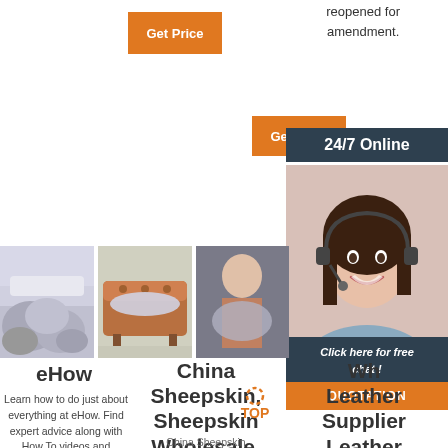reopened for amendment.
[Figure (other): Orange 'Get Price' button (top left)]
[Figure (other): Orange 'Get Price' button (middle right)]
24/7 Online
[Figure (photo): Customer service agent photo with headset, smiling woman with dark hair]
Click here for free chat!
QUOTATION
[Figure (photo): Sheepskin rug on floor]
[Figure (photo): Sheepskin on leather sofa]
[Figure (photo): Person holding sheepskin]
eHow
Learn how to do just about everything at eHow. Find expert advice along with How To videos and articles,
China Sheepskin, Sheepskin Wholesale, Manufacturers
China Sheepskin
Wh... Leather Supplier Leather Supply – Buckskin